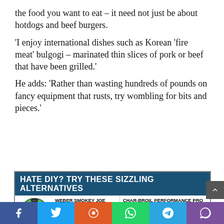the food you want to eat – it need not just be about hotdogs and beef burgers.
'I enjoy international dishes such as Korean 'fire meat' bulgogi – marinated thin slices of pork or beef that have been grilled.'
He adds: 'Rather than wasting hundreds of pounds on fancy equipment that rusts, try wombling for bits and pieces.'
[Figure (infographic): Infographic box titled 'HATE DIY? TRY THESE SIZZLING ALTERNATIVES' with product listings: Weber Smokey Joe £100, Ooni Fyra £249, Char-Broil Performance Pro £580, Big Green Egg Barbecue £1,...]
Social sharing bar with Facebook, Twitter, Reddit, WhatsApp, Telegram, Viber buttons